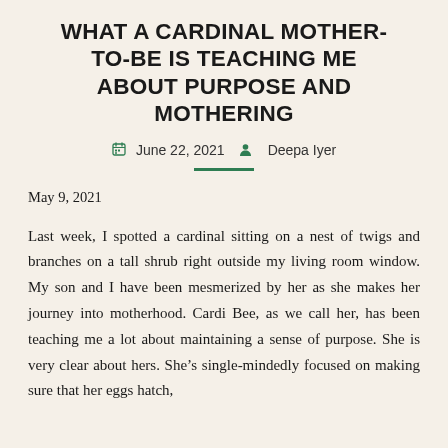WHAT A CARDINAL MOTHER-TO-BE IS TEACHING ME ABOUT PURPOSE AND MOTHERING
June 22, 2021  Deepa Iyer
May 9, 2021
Last week, I spotted a cardinal sitting on a nest of twigs and branches on a tall shrub right outside my living room window. My son and I have been mesmerized by her as she makes her journey into motherhood. Cardi Bee, as we call her, has been teaching me a lot about maintaining a sense of purpose. She is very clear about hers. She’s single-mindedly focused on making sure that her eggs hatch,